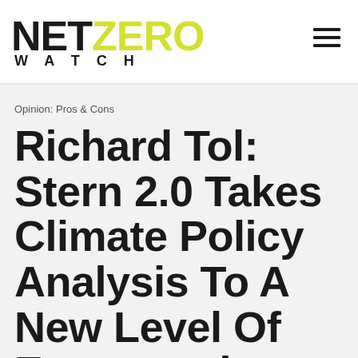NET ZERO WATCH
Opinion: Pros & Cons
Richard Tol: Stern 2.0 Takes Climate Policy Analysis To A New Level Of Exaggeration